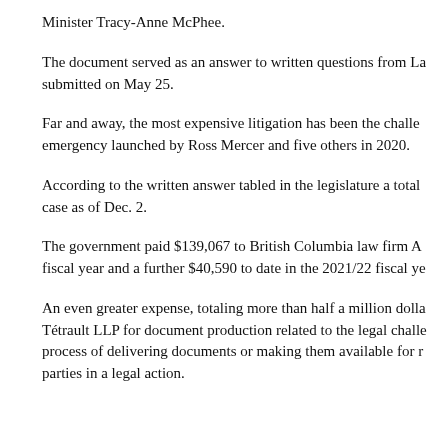Minister Tracy-Anne McPhee.
The document served as an answer to written questions from La submitted on May 25.
Far and away, the most expensive litigation has been the challe emergency launched by Ross Mercer and five others in 2020.
According to the written answer tabled in the legislature a total case as of Dec. 2.
The government paid $139,067 to British Columbia law firm A fiscal year and a further $40,590 to date in the 2021/22 fiscal ye
An even greater expense, totaling more than half a million dolla Tétrault LLP for document production related to the legal challe process of delivering documents or making them available for r parties in a legal action.